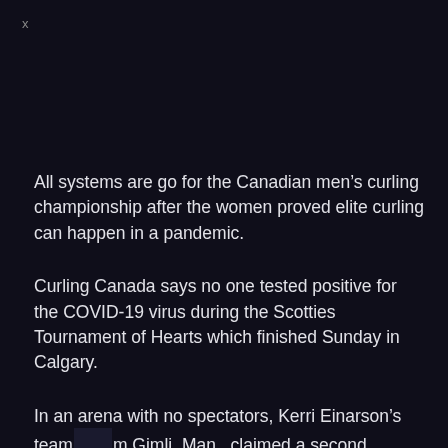x
All systems are go for the Canadian men’s curling championship after the women proved elite curling can happen in a pandemic.
Curling Canada says no one tested positive for the COVID-19 virus during the Scotties Tournament of Hearts which finished Sunday in Calgary.
In an arena with no spectators, Kerri Einarson’s team from Gimli, Man., claimed a second consecutive title.